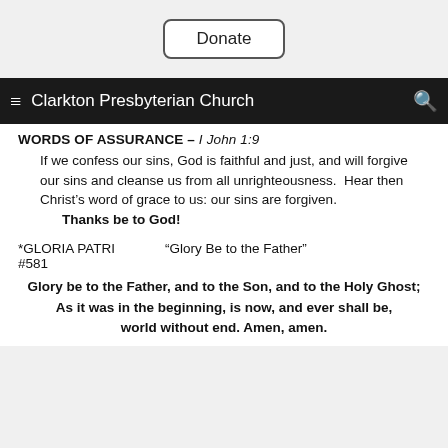[Figure (screenshot): Donate button - white rounded rectangle button with text 'Donate' on grey background]
≡  Clarkton Presbyterian Church  🔍
WORDS OF ASSURANCE – I John 1:9
If we confess our sins, God is faithful and just, and will forgive our sins and cleanse us from all unrighteousness.  Hear then Christ's word of grace to us: our sins are forgiven.
Thanks be to God!
*GLORIA PATRI    "Glory Be to the Father"
#581
Glory be to the Father, and to the Son, and to the Holy Ghost;
As it was in the beginning, is now, and ever shall be, world without end. Amen, amen.